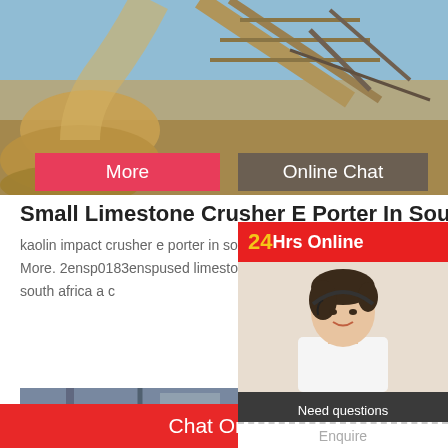[Figure (photo): Industrial conveyor belt / mining equipment with sand/ore material being transported, blue sky background]
More
Online Chat
Small Limestone Crusher E Porter In South Africa
kaolin impact crusher e porter in south africa crusher exporter in south africa Know More. 2ensp0183enspused limestone crusher e porte limestone crusher exporter in south africa a c
[Figure (photo): Industrial building / factory exterior with blue-grey metal structures]
24Hrs Online
[Figure (photo): Customer service representative woman wearing headset, smiling]
Need questions & suggestion?
Chat Now
Chat Online
Enquire